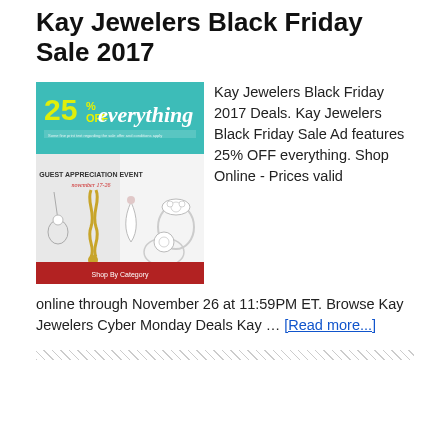Kay Jewelers Black Friday Sale 2017
[Figure (photo): Kay Jewelers Black Friday 2017 ad featuring '25% OFF everything', Guest Appreciation Event November 17-26, showing jewelry items including necklaces and rings on teal and red background]
Kay Jewelers Black Friday 2017 Deals. Kay Jewelers Black Friday Sale Ad features 25% OFF everything. Shop Online - Prices valid online through November 26 at 11:59PM ET. Browse Kay Jewelers Cyber Monday Deals Kay … [Read more...]